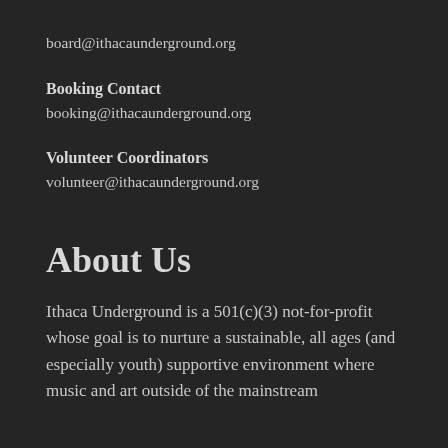board@ithacaunderground.org
Booking Contact
booking@ithacaunderground.org
Volunteer Coordinators
volunteer@ithacaunderground.org
About Us
Ithaca Underground is a 501(c)(3) not-for-profit whose goal is to nurture a sustainable, all ages (and especially youth) supportive environment where music and art outside of the mainstream